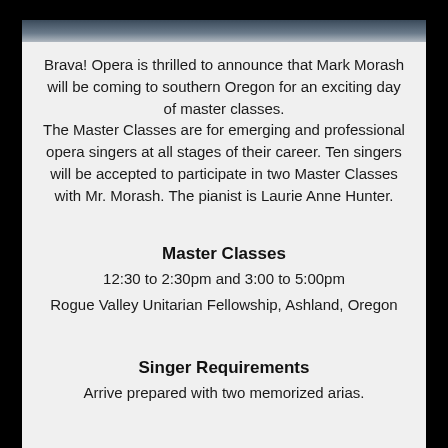[Figure (photo): Photo of a person, cropped, visible at the top of the page as a strip.]
Brava! Opera is thrilled to announce that Mark Morash will be coming to southern Oregon for an exciting day of master classes. The Master Classes are for emerging and professional opera singers at all stages of their career. Ten singers will be accepted to participate in two Master Classes with Mr. Morash. The pianist is Laurie Anne Hunter.
Master Classes
12:30 to 2:30pm and 3:00 to 5:00pm
Rogue Valley Unitarian Fellowship, Ashland, Oregon
Singer Requirements
Arrive prepared with two memorized arias.